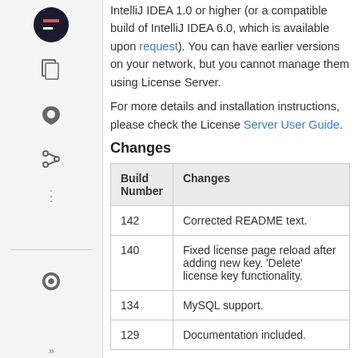IntelliJ IDEA 1.0 or higher (or a compatible build of IntelliJ IDEA 6.0, which is available upon request). You can have earlier versions on your network, but you cannot manage them using License Server.
For more details and installation instructions, please check the License Server User Guide.
Changes
| Build Number | Changes |
| --- | --- |
| 142 | Corrected README text. |
| 140 | Fixed license page reload after adding new key. 'Delete' license key functionality. |
| 134 | MySQL support. |
| 129 | Documentation included. |